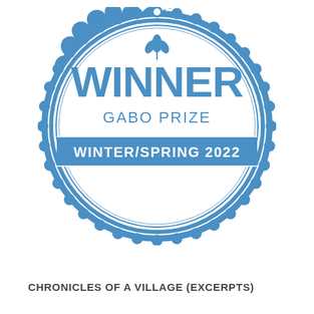[Figure (logo): Award badge/seal in blue and white. Outer scalloped/gear-like ring in blue, inner thin circle, large text WINNER in bold blue, below it GABO PRIZE, then a blue banner reading WINTER/SPRING 2022. A small three-leaf plant icon at the top inside the badge.]
CHRONICLES OF A VILLAGE (EXCERPTS)